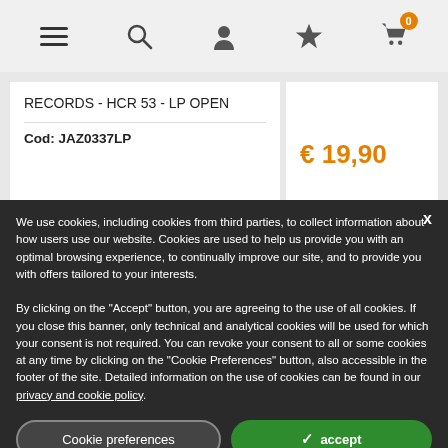[Figure (screenshot): Website navigation bar with hamburger menu, search icon, user icon, favourites/star icon, and shopping cart icon with badge showing 0]
RECORDS - HCR 53 - LP OPEN
Cod: JAZ0337LP
€ 17,90
€ 19,90
We use cookies, including cookies from third parties, to collect information about how users use our website. Cookies are used to help us provide you with an optimal browsing experience, to continually improve our site, and to provide you with offers tailored to your interests.

By clicking on the "Accept" button, you are agreeing to the use of all cookies. If you close this banner, only technical and analytical cookies will be used for which your consent is not required. You can revoke your consent to all or some cookies at any time by clicking on the "Cookie Preferences" button, also accessible in the footer of the site. Detailed information on the use of cookies can be found in our privacy and cookie policy.
Cookie preferences
✓ accept